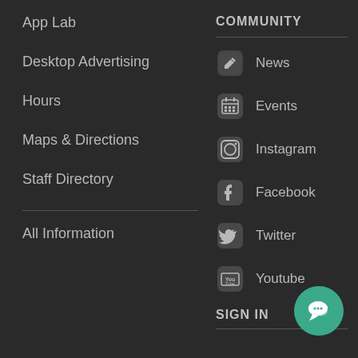App Lab
Desktop Advertising
Hours
Maps & Directions
Staff Directory
All Information
COMMUNITY
News
Events
Instagram
Facebook
Twitter
Youtube
SIGN IN